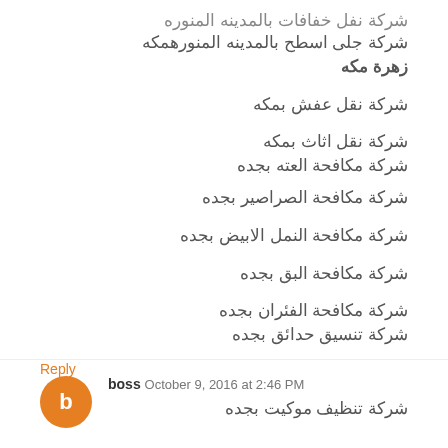شركة جلى اسطح بالمدينه المنورهمكه زهرة مكه
شركة نقل عفش بمكه
شركة نقل اثاث بمكه
شركة مكافحة العته بجده
شركة مكافحة الصراصير بجده
شركة مكافحة النمل الابيض بجده
شركة مكافحة البق بجده
شركة مكافحة الفئران بجده
شركة تنسيق حدائق بجده
Reply
boss  October 9, 2016 at 2:46 PM
شركة تنظيف موكيت بجده